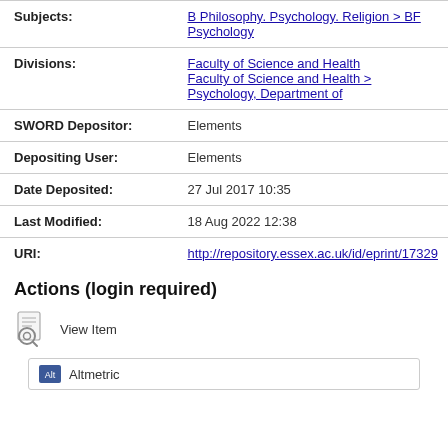| Field | Value |
| --- | --- |
| Subjects: | B Philosophy. Psychology. Religion > BF Psychology |
| Divisions: | Faculty of Science and Health
Faculty of Science and Health > Psychology, Department of |
| SWORD Depositor: | Elements |
| Depositing User: | Elements |
| Date Deposited: | 27 Jul 2017 10:35 |
| Last Modified: | 18 Aug 2022 12:38 |
| URI: | http://repository.essex.ac.uk/id/eprint/17329 |
Actions (login required)
View Item
Altmetric